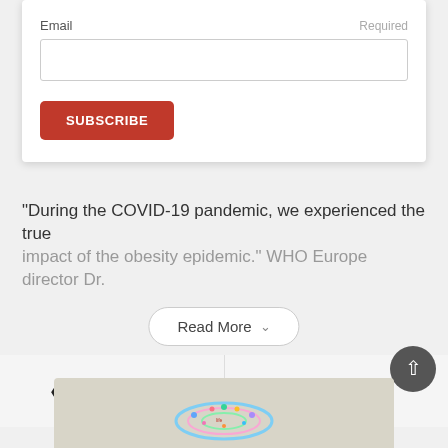Email
Required
SUBSCRIBE
“During the COVID-19 pandemic, we experienced the true impact of the obesity epidemic.” WHO Europe director Dr.
Read More
‹ Previous story
Next story ›
[Figure (illustration): Colorful word cloud or circular graphic on a beige/grey background at the bottom of the page]